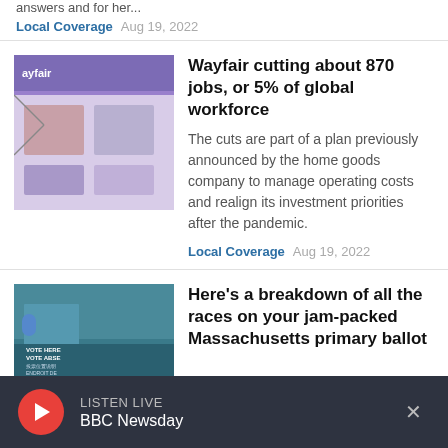answers and for her...
Local Coverage  Aug 19, 2022
[Figure (photo): Wayfair website screenshot showing the Wayfair logo and home goods products]
Wayfair cutting about 870 jobs, or 5% of global workforce
The cuts are part of a plan previously announced by the home goods company to manage operating costs and realign its investment priorities after the pandemic.
Local Coverage  Aug 19, 2022
[Figure (photo): Polling station with Vote Here signs]
Here's a breakdown of all the races on your jam-packed Massachusetts primary ballot
LISTEN LIVE BBC Newsday